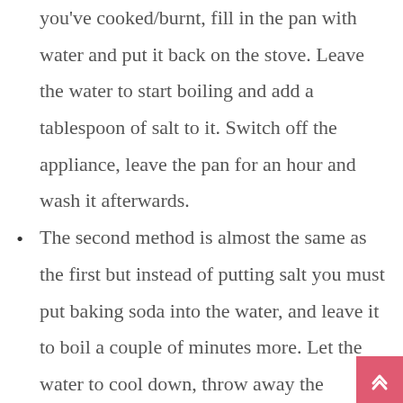you've cooked/burnt, fill in the pan with water and put it back on the stove. Leave the water to start boiling and add a tablespoon of salt to it. Switch off the appliance, leave the pan for an hour and wash it afterwards.
The second method is almost the same as the first but instead of putting salt you must put baking soda into the water, and leave it to boil a couple of minutes more. Let the water to cool down, throw away the solution, and rub the burnt food from the pan with the back side of a sponge.
The last technique, is also with natural